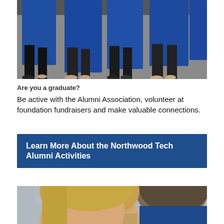[Figure (photo): Graduation ceremony photo showing people walking in blue graduation gowns, legs and feet visible from mid-body down on a pavement surface.]
Are you a graduate?
Be active with the Alumni Association, volunteer at foundation fundraisers and make valuable connections.
Learn More About the Northwood Tech Alumni Activities
[Figure (photo): Two women in conversation; a blonde-haired woman facing the camera smiling, and another woman seen from behind with dark hair, wearing a blue top.]